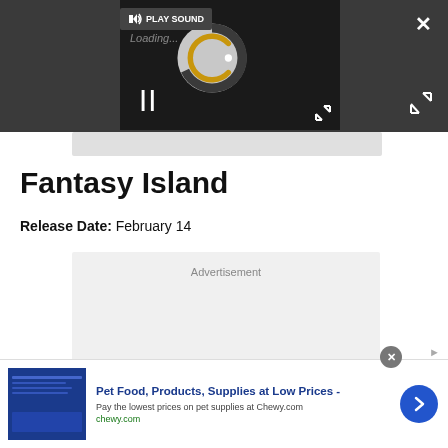[Figure (screenshot): Video player UI with dark background, loading spinner circle in gray and gold, pause button (two vertical bars), PLAY SOUND button with speaker icon, close X button top-right, expand arrows bottom-right.]
Fantasy Island
Release Date: February 14
[Figure (screenshot): Advertisement placeholder box with light gray background and 'Advertisement' label text.]
[Figure (screenshot): Bottom banner ad for Chewy.com: Pet Food, Products, Supplies at Low Prices - Pay the lowest prices on pet supplies at Chewy.com. chewy.com. Blue product image on left, blue arrow button on right, close X circular button.]